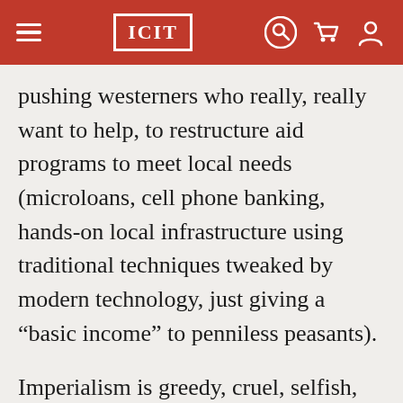ICIT
pushing westerners who really, really want to help, to restructure aid programs to meet local needs (microloans, cell phone banking, hands-on local infrastructure using traditional techniques tweaked by modern technology, just giving a “basic income” to penniless peasants).
Imperialism is greedy, cruel, selfish, but all people living under the system are not, and this “peoples diplomacy” is slowly gaining momentum. The jury is still out on the final